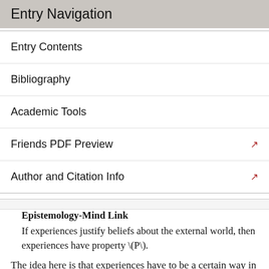Entry Navigation
Entry Contents
Bibliography
Academic Tools
Friends PDF Preview
Author and Citation Info
Epistemology-Mind Link
If experiences justify beliefs about the external world, then experiences have property \(P\).
The idea here is that experiences have to be a certain way in order to justify beliefs. Now, philosophers might accept a particular instance of the E-M Link, but disagree about whether experiences are the way they need to be in order to justify beliefs about the external world. For example, Davidson (1986) and McDowell (1994) agree that experiences justify beliefs about the external world only if